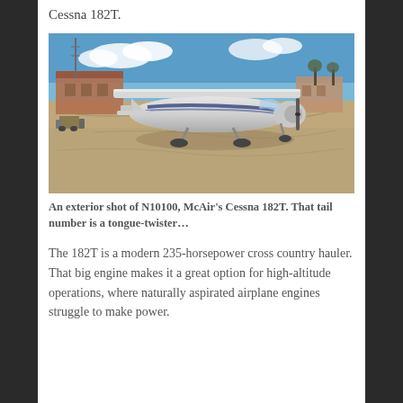Cessna 182T.
[Figure (photo): Exterior photograph of a white Cessna 182T airplane (tail number N10100) parked on a tarmac apron in front of a brick building, shot from the front-right angle on a clear winter day.]
An exterior shot of N10100, McAir's Cessna 182T. That tail number is a tongue-twister…
The 182T is a modern 235-horsepower cross country hauler. That big engine makes it a great option for high-altitude operations, where naturally aspirated airplane engines struggle to make power.